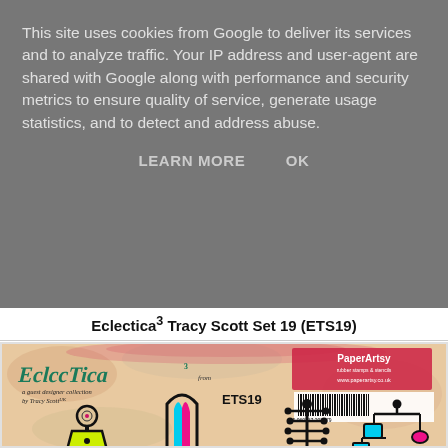This site uses cookies from Google to deliver its services and to analyze traffic. Your IP address and user-agent are shared with Google along with performance and security metrics to ensure quality of service, generate usage statistics, and to detect and address abuse.
LEARN MORE   OK
Eclectica³ Tracy Scott Set 19 (ETS19)
[Figure (photo): Photo of PaperArtsy Eclectica³ rubber stamp set ETS19 by guest designer Tracy Scott UK, showing retro mid-century modern abstract character stamps in black with yellow-green, cyan, and magenta/pink accent colors on a distressed pinkish-tan background. The package label shows 'EcclecTica³ from PaperArtsy' and 'a guest designer collection by Tracy Scott UK', barcode, and product code ETS19.]